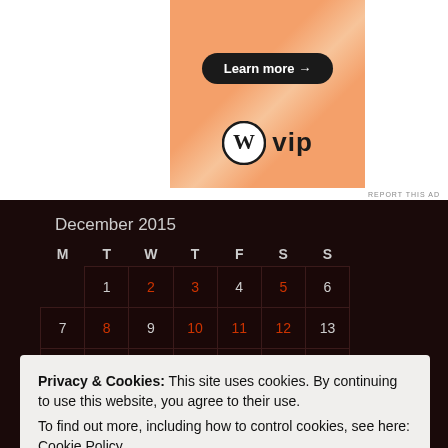[Figure (illustration): WordPress VIP advertisement banner with orange gradient background, 'Learn more →' button, and WordPress VIP logo]
REPORT THIS AD
December 2015
| M | T | W | T | F | S | S |
| --- | --- | --- | --- | --- | --- | --- |
|  | 1 | 2 | 3 | 4 | 5 | 6 |
| 7 | 8 | 9 | 10 | 11 | 12 | 13 |
| 14 | 15 | 16 | 17 | 18 | 19 | 20 |
Privacy & Cookies: This site uses cookies. By continuing to use this website, you agree to their use.
To find out more, including how to control cookies, see here: Cookie Policy
Close and accept